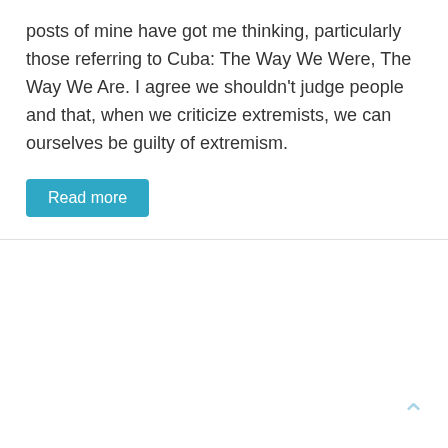posts of mine have got me thinking, particularly those referring to Cuba: The Way We Were, The Way We Are. I agree we shouldn't judge people and that, when we criticize extremists, we can ourselves be guilty of extremism.
Read more